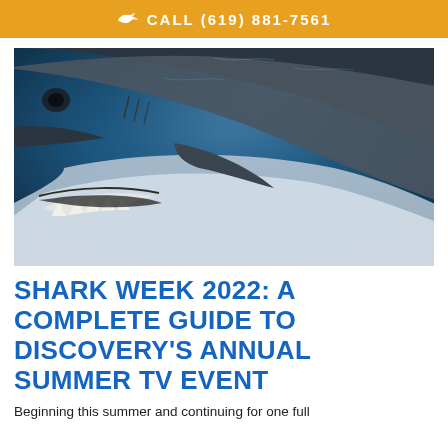CALL (619) 881-7561
[Figure (photo): Close-up underwater photograph of a great white shark, showing its open mouth with teeth visible, viewed from below against a blue water background.]
SHARK WEEK 2022: A COMPLETE GUIDE TO DISCOVERY'S ANNUAL SUMMER TV EVENT
Beginning this summer and continuing for one full